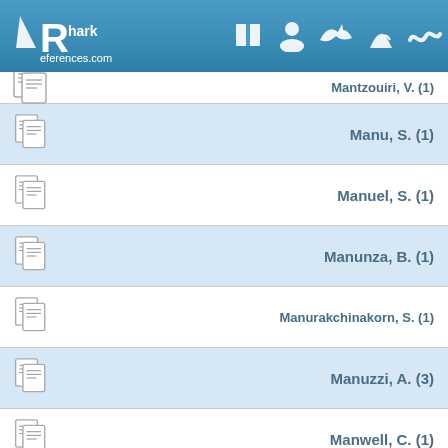SharkReferences.com
Mantzouiri, V. (1)
Manu, S. (1)
Manuel, S. (1)
Manunza, B. (1)
Manurakchinakorn, S. (1)
Manuzzi, A. (3)
Manwell, C. (1)
Manzanares, E. (15)
Manzano F.Silva, M.J. (2)